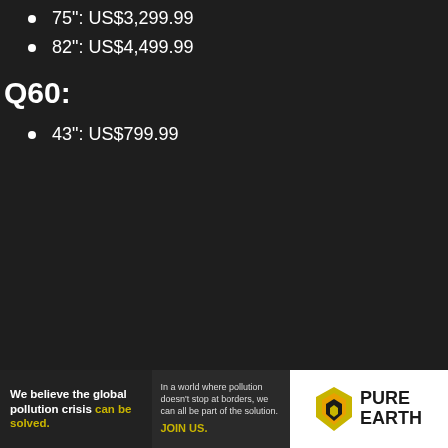75": US$3,299.99
82": US$4,499.99
Q60:
43": US$799.99
[Figure (infographic): Pure Earth advertisement banner: 'We believe the global pollution crisis can be solved.' with text about pollution not stopping at borders and JOIN US call to action, with Pure Earth logo.]